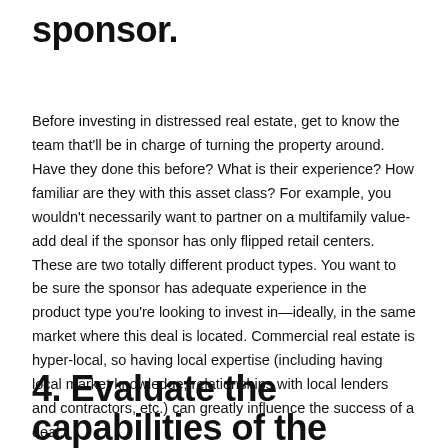sponsor.
Before investing in distressed real estate, get to know the team that'll be in charge of turning the property around. Have they done this before? What is their experience? How familiar are they with this asset class? For example, you wouldn't necessarily want to partner on a multifamily value-add deal if the sponsor has only flipped retail centers. These are two totally different product types. You want to be sure the sponsor has adequate experience in the product type you're looking to invest in—ideally, in the same market where this deal is located. Commercial real estate is hyper-local, so having local expertise (including having local market knowledge, relationships with local lenders and contractors, etc.) can greatly influence the success of a deal.
4. Evaluate the capabilities of the